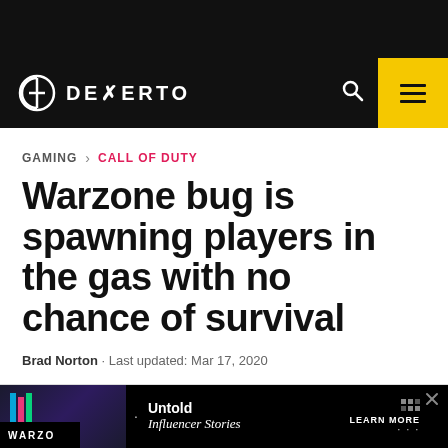DEXERTO
GAMING > CALL OF DUTY
Warzone bug is spawning players in the gas with no chance of survival
Brad Norton · Last updated: Mar 17, 2020
[Figure (screenshot): Advertisement banner at bottom of page showing Originals - Untold Influencer Stories with Learn More button and a close X button. Also shows partial WARZONE label at bottom left.]